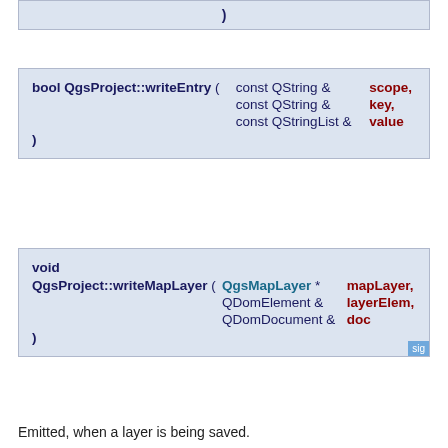)
bool QgsProject::writeEntry ( const QString &   scope,
                              const QString &   key,
                              const QStringList &  value
                            )
void
QgsProject::writeMapLayer ( QgsMapLayer *   mapLayer,
                            QDomElement &   layerElem,
                            QDomDocument &  doc
                          )
Emitted, when a layer is being saved.
You can use this method to save additional information to the layer.
Parameters
mapLayer The map layer which is being initialized
layerElem The layer element from the project file